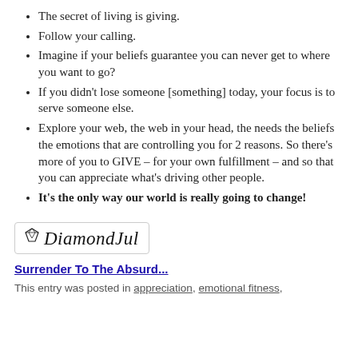The secret of living is giving.
Follow your calling.
Imagine if your beliefs guarantee you can never get to where you want to go?
If you didn't lose someone [something] today, your focus is to serve someone else.
Explore your web, the web in your head, the needs the beliefs the emotions that are controlling you for 2 reasons. So there's more of you to GIVE – for your own fulfillment – and so that you can appreciate what's driving other people.
It's the only way our world is really going to change!
[Figure (logo): DiamondJul logo with diamond icon above text in cursive script, inside a rounded rectangle border]
Surrender To The Absurd...
This entry was posted in appreciation, emotional fitness,